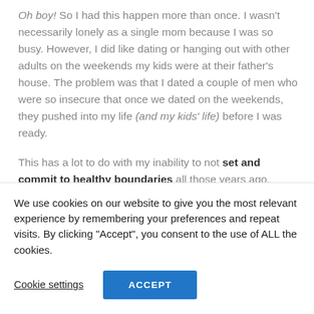Oh boy! So I had this happen more than once. I wasn't necessarily lonely as a single mom because I was so busy. However, I did like dating or hanging out with other adults on the weekends my kids were at their father's house. The problem was that I dated a couple of men who were so insecure that once we dated on the weekends, they pushed into my life (and my kids' life) before I was ready.

This has a lot to do with my inability to not set and commit to healthy boundaries all those years ago. You're going to need to be careful about who you date
We use cookies on our website to give you the most relevant experience by remembering your preferences and repeat visits. By clicking "Accept", you consent to the use of ALL the cookies.
Cookie settings
ACCEPT